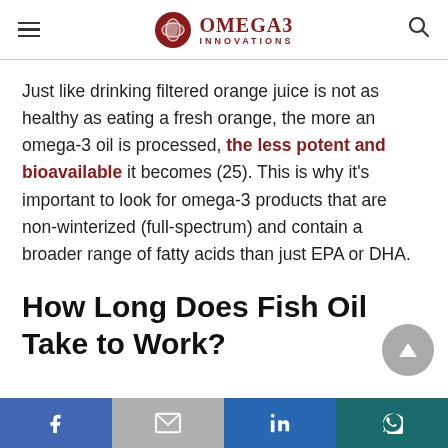Omega3 Innovations
Just like drinking filtered orange juice is not as healthy as eating a fresh orange, the more an omega-3 oil is processed, the less potent and bioavailable it becomes (25). This is why it’s important to look for omega-3 products that are non-winterized (full-spectrum) and contain a broader range of fatty acids than just EPA or DHA.
How Long Does Fish Oil Take to Work?
Share buttons: Facebook, Gmail/Email, LinkedIn, WhatsApp